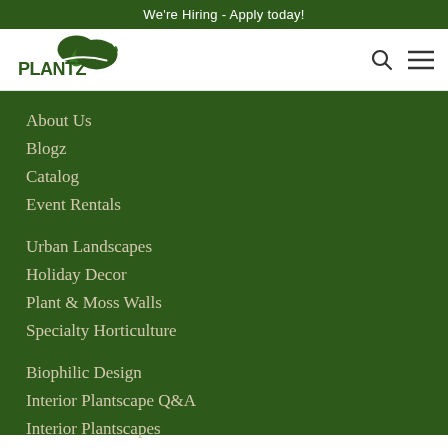We're Hiring - Apply today!
[Figure (logo): Plantz company logo with stylized plant/tree graphic and bold text]
About Us
Blogz
Catalog
Event Rentals
Urban Landscapes
Holiday Decor
Plant & Moss Walls
Specialty Horticulture
Biophilic Design
Interior Plantscape Q&A
Interior Plantscapes
Careers